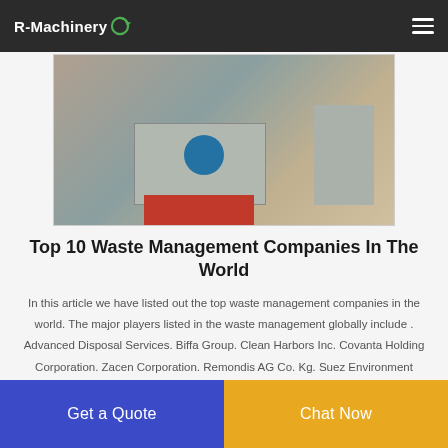R-Machinery
[Figure (photo): Industrial waste shredding/processing machine on a red metal frame, photographed outdoors at a facility]
Top 10 Waste Management Companies In The World
In this article we have listed out the top waste management companies in the world. The major players listed in the waste management globally include . Advanced Disposal Services. Biffa Group. Clean Harbors Inc. Covanta Holding Corporation. Zacen Corporation. Remondis AG Co. Kg. Suez Environment